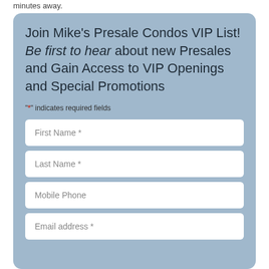minutes away.
Join Mike's Presale Condos VIP List! Be first to hear about new Presales and Gain Access to VIP Openings and Special Promotions
"*" indicates required fields
First Name *
Last Name *
Mobile Phone
Email address *